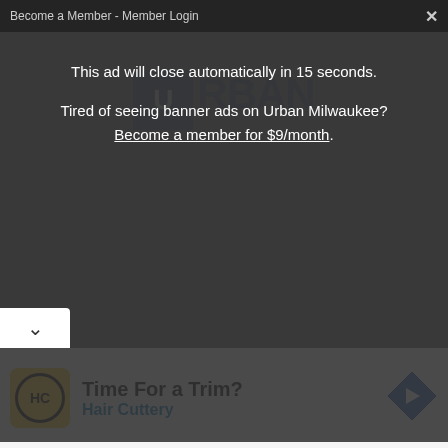Become a Member - Member Login
[Figure (logo): Urban Milwaukee logo - blue box with U and RBAN text]
This ad will close automatically in 15 seconds.
Tired of seeing banner ads on Urban Milwaukee?
Become a member for $9/month.
Show Menu
[Figure (photo): Thumbnail photo of a man in a blue shirt]
City Closes Burger King With Inside-Job Shooting
Council denies renewal of license, with alderman citing "a culture of" carrying weapons.
Redney Zamriene - Jun 22nd, 2022 02:57 pm
[Figure (logo): Hair Cuttery logo - HC in circle on yellow background]
Time For a Trim?
Hair Cuttery